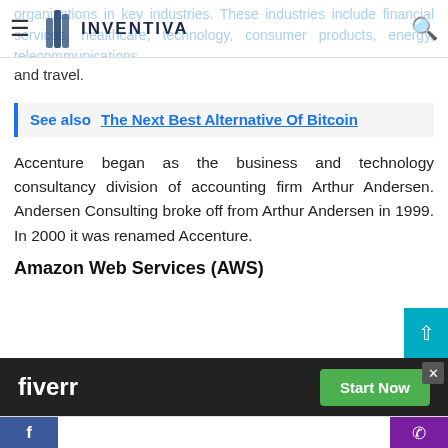INVENTIVA (navigation bar with hamburger menu and search icon)
organizations in key industries. These industries include financial services, healthcare, technology, consumer products, energy, telecommunications, and travel.
See also  The Next Best Alternative Of Bitcoin
Accenture began as the business and technology consultancy division of accounting firm Arthur Andersen. Andersen Consulting broke off from Arthur Andersen in 1999. In 2000 it was renamed Accenture.
Amazon Web Services (AWS)
fiverr  Start Now  [ad bar with Facebook and phone icons]